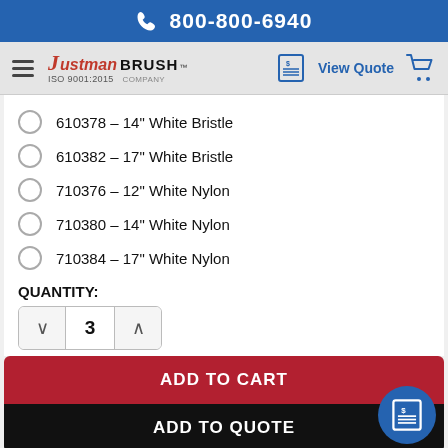800-800-6940
[Figure (screenshot): Justman Brush Company navigation bar with hamburger menu, logo, View Quote link and cart icon]
610378 - 14" White Bristle
610382 - 17" White Bristle
710376 - 12" White Nylon
710380 - 14" White Nylon
710384 - 17" White Nylon
QUANTITY:
3
ADD TO CART
ADD TO QUOTE